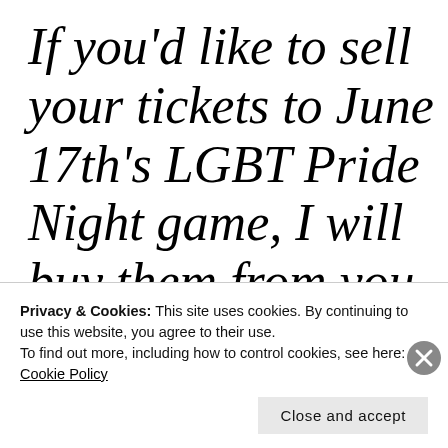If you'd like to sell your tickets to June 17th's LGBT Pride Night game, I will buy them from you at face value. As many as I can. No questions. No...
Privacy & Cookies: This site uses cookies. By continuing to use this website, you agree to their use.
To find out more, including how to control cookies, see here: Cookie Policy
Close and accept